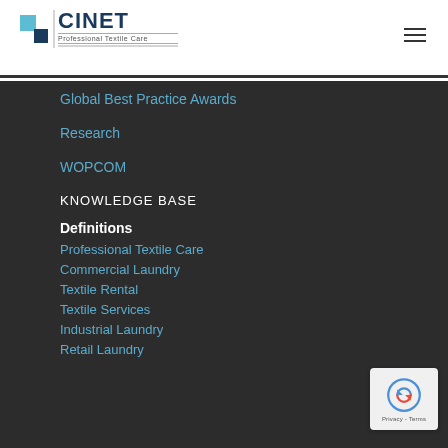[Figure (logo): CINET Professional Textile Care logo with blue squares and horizontal lines]
Global Best Practice Awards
Research
WOPCOM
KNOWLEDGE BASE
Definitions
Professional Textile Care
Commercial Laundry
Textile Rental
Textile Services
Industrial Laundry
Retail Laundry